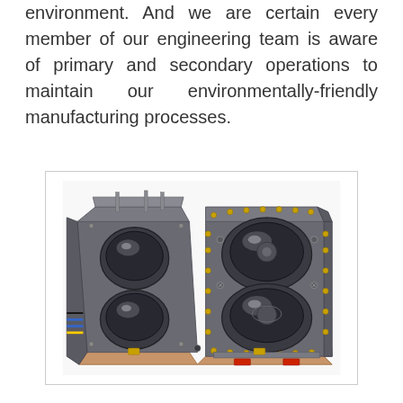environment. And we are certain every member of our engineering team is aware of primary and secondary operations to maintain our environmentally-friendly manufacturing processes.
[Figure (photo): Two industrial injection mold halves shown side by side. The left mold half shows two large spherical cavities with ejector pins and blue/yellow wiring on the left side. The right mold half shows matching cavities with numerous bolts, yellow fittings around the perimeter, and red connectors at the bottom. Both molds are made of machined steel with copper/bronze colored base plates.]